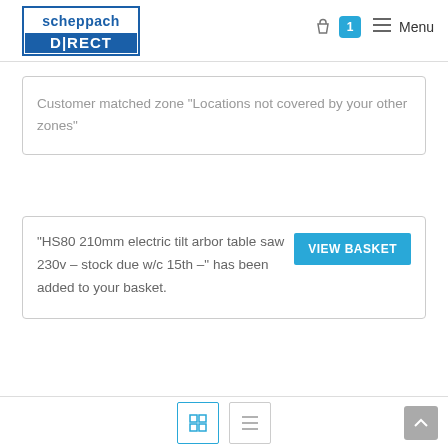[Figure (logo): Scheppach Direct logo - blue rectangle with white text 'scheppach' on top and 'D|RECT' on bottom]
Menu 1
Customer matched zone "Locations not covered by your other zones"
“HS80 210mm electric tilt arbor table saw 230v – stock due w/c 15th –” has been added to your basket.